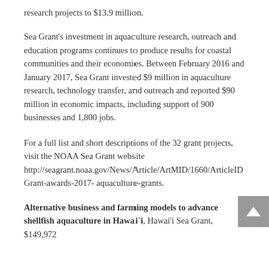research projects to $13.9 million.
Sea Grant's investment in aquaculture research, outreach and education programs continues to produce results for coastal communities and their economies. Between February 2016 and January 2017, Sea Grant invested $9 million in aquaculture research, technology transfer, and outreach and reported $90 million in economic impacts, including support of 900 businesses and 1,800 jobs.
For a full list and short descriptions of the 32 grant projects, visit the NOAA Sea Grant website http://seagrant.noaa.gov/News/Article/ArtMID/1660/ArticleID Grant-awards-2017- aquaculture-grants.
Alternative business and farming models to advance shellfish aquaculture in Hawai`i, Hawai'i Sea Grant, $149,972